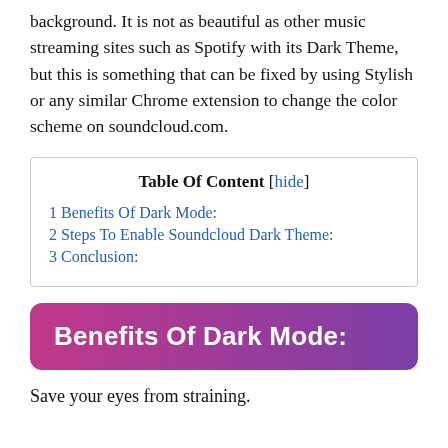background. It is not as beautiful as other music streaming sites such as Spotify with its Dark Theme, but this is something that can be fixed by using Stylish or any similar Chrome extension to change the color scheme on soundcloud.com.
| Table Of Content |
| --- |
| 1 Benefits Of Dark Mode: |
| 2 Steps To Enable Soundcloud Dark Theme: |
| 3 Conclusion: |
Benefits Of Dark Mode:
Save your eyes from straining.